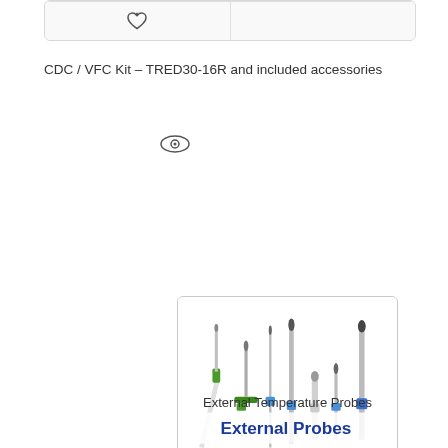[Figure (photo): Partial view of a product card top section showing a heart/wishlist icon button at bottom]
CDC / VFC Kit – TRED30-16R and included accessories
[Figure (photo): Eye/view icon below the CDC/VFC Kit caption]
[Figure (photo): Product card showing External Temperature Probes image with multiple probe connectors in green and blue colors, labeled 'External Probes', with a heart/wishlist icon below]
External Temperature Probes
[Figure (photo): Eye/view icon below External Temperature Probes caption]
[Figure (photo): Partial view of another product card at the bottom showing a white and blue cable/probe]